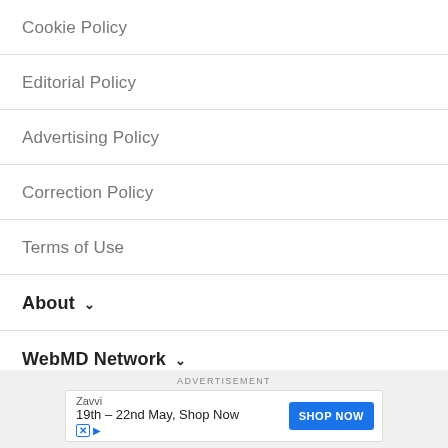Cookie Policy
Editorial Policy
Advertising Policy
Correction Policy
Terms of Use
About
WebMD Network
ADVERTISEMENT
[Figure (other): Zavvi advertisement banner: '19th - 22nd May, Shop Now' with blue SHOP NOW button]